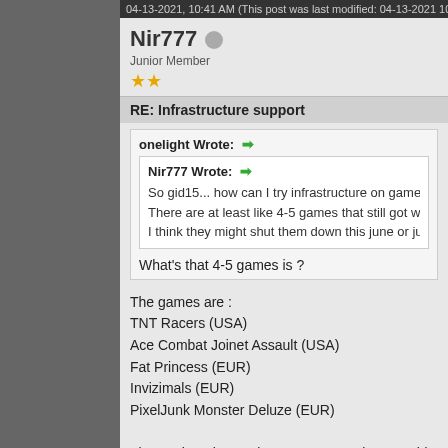04-13-2021, 10:41 AM (This post was last modified: 04-13-2021 10:51 AM by
Nir777 Junior Member ★★
RE: Infrastructure support
onelight Wrote: ➡
Nir777 Wrote: ➡
So gid15... how can I try infrastructure on games that still got P
There are at least like 4-5 games that still got working servers.
I think they might shut them down this june or july when they ge
What's that 4-5 games is ?
The games are :
TNT Racers (USA)
Ace Combat Joinet Assault (USA)
Fat Princess (EUR)
Invizimals (EUR)
PixelJunk Monster Deluze (EUR)
That's what I know about anyway so there could be more.
On PSP you must be on firmware 6.61... it won't work with firmwa